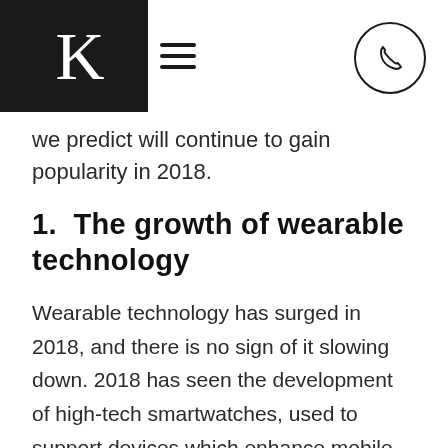K
we predict will continue to gain popularity in 2018.
1.  The growth of wearable technology
Wearable technology has surged in 2018, and there is no sign of it slowing down. 2018 has seen the development of high-tech smartwatches, used to support devices which enhance mobile experiences. 2018 could continue to see smartwatches become standalone. Consider how advanced the and think of the potential that the